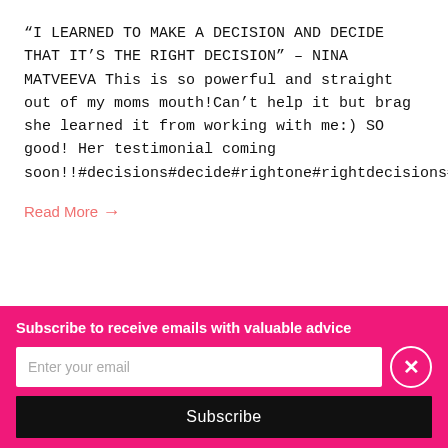“I LEARNED TO MAKE A DECISION AND DECIDE THAT IT’S THE RIGHT DECISION” – NINA MATVEEVA This is so powerful and straight out of my moms mouth!Can’t help it but brag she learned it from working with me:) SO good! Her testimonial coming soon!!#decisions#decide#rightone#rightdecisions#mom
Read More →
Subscribe to receive emails with valuable advice
Enter your email
Subscribe